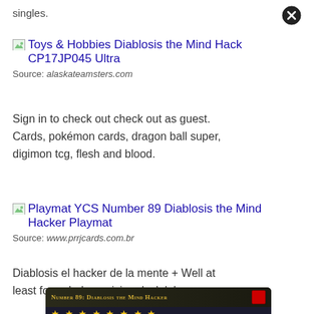singles.
Toys & Hobbies Diablosis the Mind Hack CP17JP045 Ultra
Source: alaskateamsters.com
Sign in to check out check out as guest. Cards, pokémon cards, dragon ball super, digimon tcg, flesh and blood.
Playmat YCS Number 89 Diablosis the Mind Hacker Playmat
Source: www.prrjcards.com.br
Diablosis el hacker de la mente + Well at least for a dark magician deck lol.
[Figure (photo): Yu-Gi-Oh card: Number 89: Diablosis the Mind Hacker, showing card title in gold text on dark background with stars and card artwork]